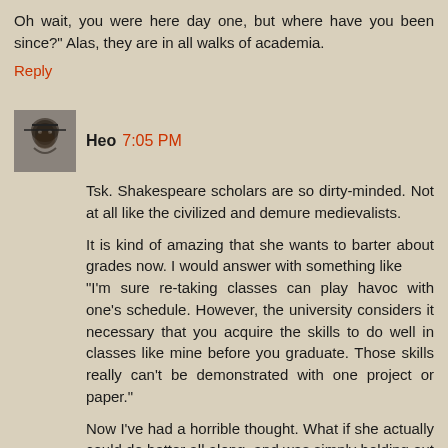Oh wait, you were here day one, but where have you been since?" Alas, they are in all walks of academia.
Reply
Heo 7:05 PM
Tsk. Shakespeare scholars are so dirty-minded. Not at all like the civilized and demure medievalists.
It is kind of amazing that she wants to barter about grades now. I would answer with something like "I'm sure re-taking classes can play havoc with one's schedule. However, the university considers it necessary that you acquire the skills to do well in classes like mine before you graduate. Those skills really can't be demonstrated with one project or paper."
Now I've had a horrible thought. What if she actually could do better all along, and was simply holding out on you?
Reply